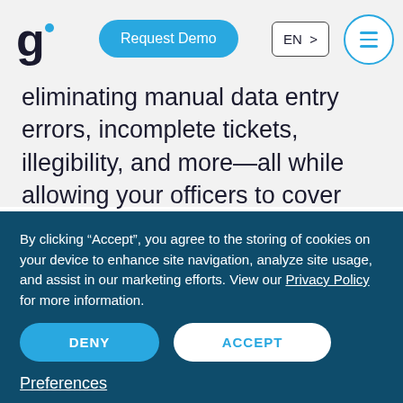[Figure (logo): Letter g with a blue dot above-right, serving as a company logo]
Request Demo
EN >
eliminating manual data entry errors, incomplete tickets, illegibility, and more—all while allowing your officers to cover more ground.
By clicking “Accept”, you agree to the storing of cookies on your device to enhance site navigation, analyze site usage, and assist in our marketing efforts. View our Privacy Policy for more information.
DENY
ACCEPT
Preferences